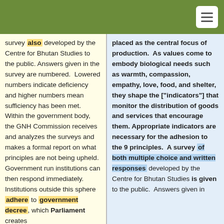survey also developed by the Centre for Bhutan Studies to the public. Answers given in the survey are numbered. Lowered numbers indicate deficiency and higher numbers mean sufficiency has been met. Within the government body, the GNH Commission receives and analyzes the surveys and makes a formal report on what principles are not being upheld. Government run institutions can then respond immediately. Institutions outside this sphere adhere to government decree, which Parliament creates
placed as the central focus of production. As values come to embody biological needs such as warmth, compassion, empathy, love, food, and shelter, they shape the ["indicators"] that monitor the distribution of goods and services that encourage them. Appropriate indicators are necessary for the adhesion to the 9 principles. A survey of both multiple choice and written responses developed by the Centre for Bhutan Studies is given to the public. Answers given in